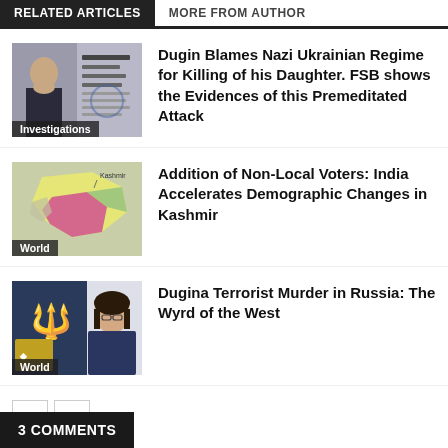RELATED ARTICLES | MORE FROM AUTHOR
Dugin Blames Nazi Ukrainian Regime for Killing of his Daughter. FSB shows the Evidences of this Premeditated Attack
Investigations
Addition of Non-Local Voters: India Accelerates Demographic Changes in Kashmir
World
Dugina Terrorist Murder in Russia: The Wyrd of the West
World
3 COMMENTS